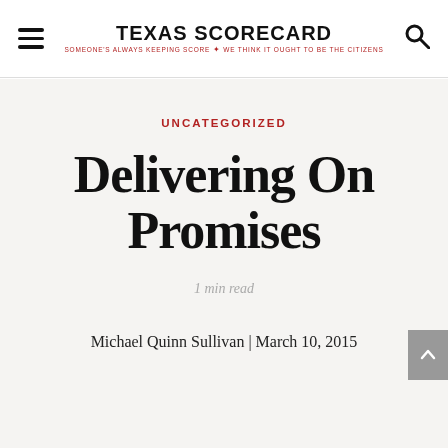TEXAS SCORECARD — SOMEONE'S ALWAYS KEEPING SCORE. WE THINK IT OUGHT TO BE THE CITIZENS.
UNCATEGORIZED
Delivering On Promises
1 min read
Michael Quinn Sullivan | March 10, 2015